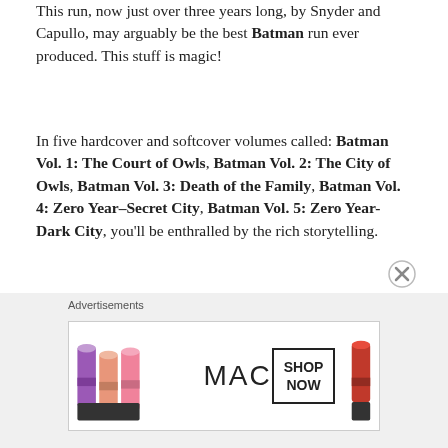This run, now just over three years long, by Snyder and Capullo, may arguably be the best Batman run ever produced. This stuff is magic!
In five hardcover and softcover volumes called: Batman Vol. 1: The Court of Owls, Batman Vol. 2: The City of Owls, Batman Vol. 3: Death of the Family, Batman Vol. 4: Zero Year–Secret City, Batman Vol. 5: Zero Year-Dark City, you'll be enthralled by the rich storytelling.
Do this!
[Figure (advertisement): MAC cosmetics advertisement showing colorful lipsticks on the left, MAC logo in the center, and a SHOP NOW button on the right, on a light grey background labeled 'Advertisements']